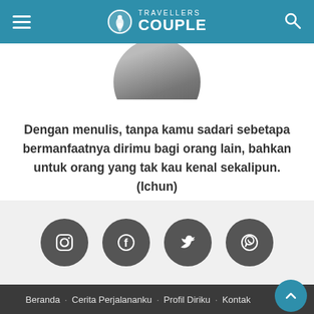TRAVELLERS COUPLE
[Figure (photo): Partial circular profile photo of a person, cropped at the bottom of the header area]
Dengan menulis, tanpa kamu sadari sebetapa bermanfaatnya dirimu bagi orang lain, bahkan untuk orang yang tak kau kenal sekalipun. (Ichun)
[Figure (infographic): Four social media icon buttons in circles: Instagram, Facebook, Twitter, WhatsApp]
Beranda · Cerita Perjalananku · Profil Diriku · Kontak
Disclaimer